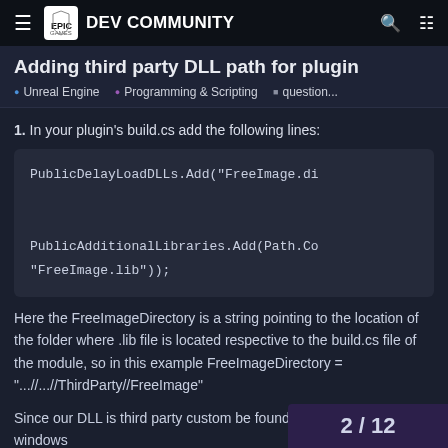Epic Games DEV COMMUNITY
Adding third party DLL path for plugin
Unreal Engine  •  Programming & Scripting  •  question...
1. In your plugin's build.cs add the following lines:
[Figure (screenshot): Code block showing: PublicDelayLoadDLLs.Add("FreeImage.di ... and PublicAdditionalLibraries.Add(Path.Co "FreeImage.lib"));]
Here the FreeImageDirectory is a string pointing to the location of the folder where .lib file is located respective to the build.cs file of the module, so in this example FreeImageDirectory = "...//...//ThirdParty//FreeImage"
Since our DLL is third party custom be found among standard windows
2 / 12